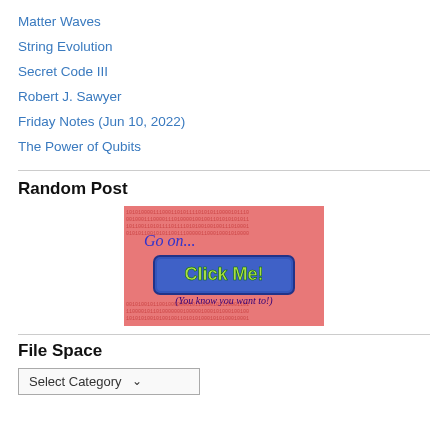Matter Waves
String Evolution
Secret Code III
Robert J. Sawyer
Friday Notes (Jun 10, 2022)
The Power of Qubits
Random Post
[Figure (screenshot): A clickable image showing binary code background in red with text 'Go on...' in cursive, a blue button saying 'Click Me!' in green text, and text '(You know you want to!)' in cursive at bottom.]
File Space
Select Category